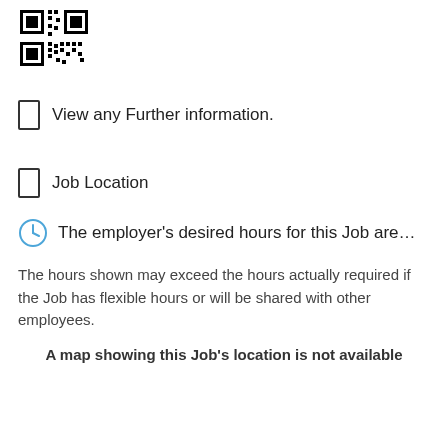[Figure (other): QR code image in top-left corner]
View any Further information.
Job Location
The employer's desired hours for this Job are…
The hours shown may exceed the hours actually required if the Job has flexible hours or will be shared with other employees.
A map showing this Job's location is not available